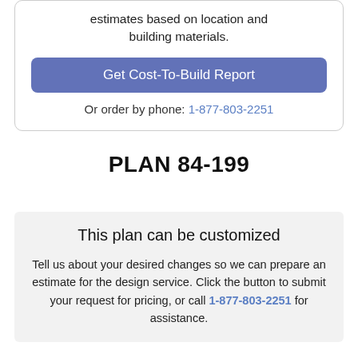estimates based on location and building materials.
Get Cost-To-Build Report
Or order by phone: 1-877-803-2251
PLAN 84-199
This plan can be customized
Tell us about your desired changes so we can prepare an estimate for the design service. Click the button to submit your request for pricing, or call 1-877-803-2251 for assistance.